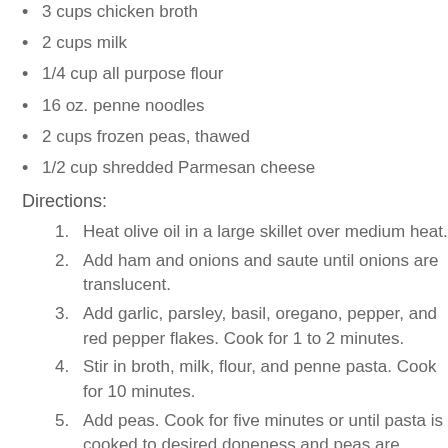3 cups chicken broth
2 cups milk
1/4 cup all purpose flour
16 oz. penne noodles
2 cups frozen peas, thawed
1/2 cup shredded Parmesan cheese
Directions:
Heat olive oil in a large skillet over medium heat.
Add ham and onions and saute until onions are translucent.
Add garlic, parsley, basil, oregano, pepper, and red pepper flakes. Cook for 1 to 2 minutes.
Stir in broth, milk, flour, and penne pasta. Cook for 10 minutes.
Add peas. Cook for five minutes or until pasta is cooked to desired doneness and peas are warm.
Serve pasta topped with Parmesan cheese.